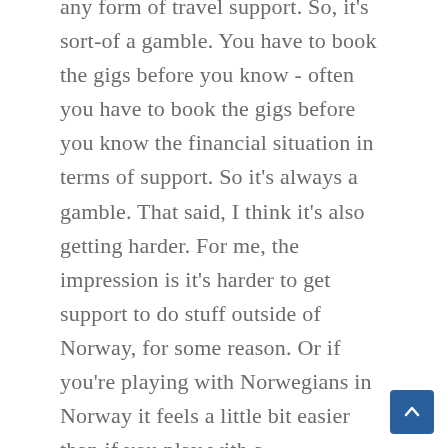any form of travel support. So, it's sort-of a gamble. You have to book the gigs before you know - often you have to book the gigs before you know the financial situation in terms of support. So it's always a gamble. That said, I think it's also getting harder. For me, the impression is it's harder to get support to do stuff outside of Norway, for some reason. Or if you're playing with Norwegians in Norway it feels a little bit easier than if you play with a multinational group outside of Norway. I think that has to do with the - it's a lot of cuts been coming to the foreign